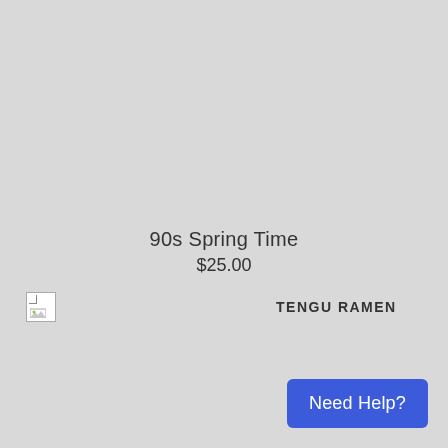90s Spring Time
$25.00
[Figure (logo): Broken image placeholder with green leaf icon and brand name TENGU RAMEN]
TENGU RAMEN
Need Help?